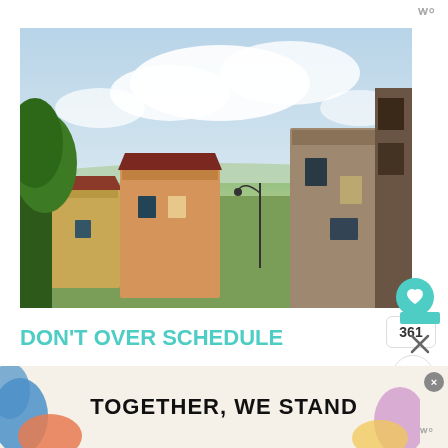W°
[Figure (photo): Aerial view of an Italian hilltown with terracotta-roofed buildings, green trees, and a wide valley landscape in the background under a partly cloudy sky.]
DON'T OVER SCHEDULE
361
Every person adds 10 minutes to your
[Figure (infographic): Advertisement banner reading 'TOGETHER, WE STAND' in bold impact font on a cream/beige background with colorful blob/amoeba shapes on the edges. Has a close (×) button.]
W°